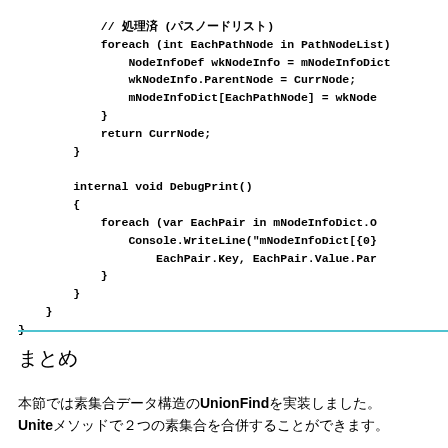// 処理済 (パスノードリスト)
            foreach (int EachPathNode in PathNodeList)
                NodeInfoDef wkNodeInfo = mNodeInfoDict
                wkNodeInfo.ParentNode = CurrNode;
                mNodeInfoDict[EachPathNode] = wkNode
            }
            return CurrNode;
        }

        internal void DebugPrint()
        {
            foreach (var EachPair in mNodeInfoDict.O
                Console.WriteLine("mNodeInfoDict[{0}
                    EachPair.Key, EachPair.Value.Par
            }
        }
    }
}
まとめ
本節では素集合データ構造のUnionFindを実装しました。
Uniteメソッドで２つの素集合を合併することができます。